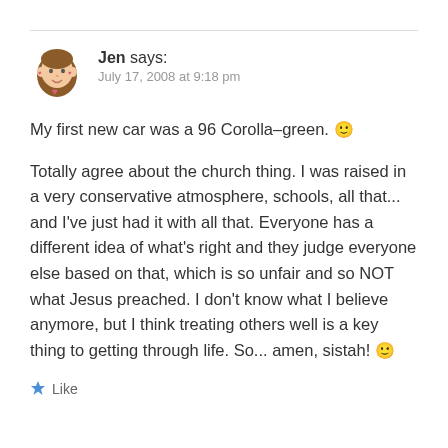Jen says: July 17, 2008 at 9:18 pm
My first new car was a 96 Corolla–green. 🙂
Totally agree about the church thing. I was raised in a very conservative atmosphere, schools, all that... and I've just had it with all that. Everyone has a different idea of what's right and they judge everyone else based on that, which is so unfair and so NOT what Jesus preached. I don't know what I believe anymore, but I think treating others well is a key thing to getting through life. So... amen, sistah! 🙂
★ Like